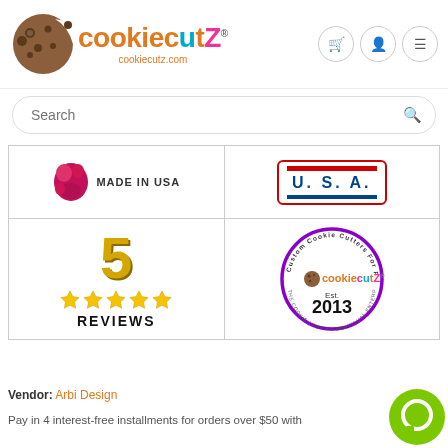[Figure (logo): CookieCutz logo with cookie icon and colorful text, cookiecutz.com]
[Figure (screenshot): Search bar with magnifying glass icon]
[Figure (infographic): Made in USA badge with pink cookie image]
[Figure (logo): USA badge with red and blue bars and blue U.S.A. text]
[Figure (infographic): 5 star reviews graphic with gold number 5, 5 gold stars, and REVIEWS text]
[Figure (logo): CookieCutz circular stamp logo, Est. 2013, Custom Cookie Cutters For Fun Occasions]
Vendor: Arbi Design
Pay in 4 interest-free installments for orders over $50 with